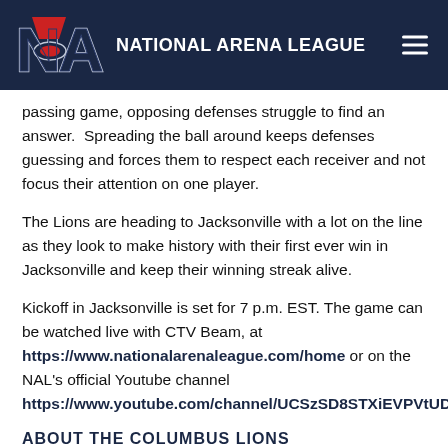NATIONAL ARENA LEAGUE
passing game, opposing defenses struggle to find an answer. Spreading the ball around keeps defenses guessing and forces them to respect each receiver and not focus their attention on one player.
The Lions are heading to Jacksonville with a lot on the line as they look to make history with their first ever win in Jacksonville and keep their winning streak alive.
Kickoff in Jacksonville is set for 7 p.m. EST. The game can be watched live with CTV Beam, at https://www.nationalarenaleague.com/home or on the NAL's official Youtube channel https://www.youtube.com/channel/UCSzSD8STXiEVPVtUDO9juhA.
ABOUT THE COLUMBUS LIONS